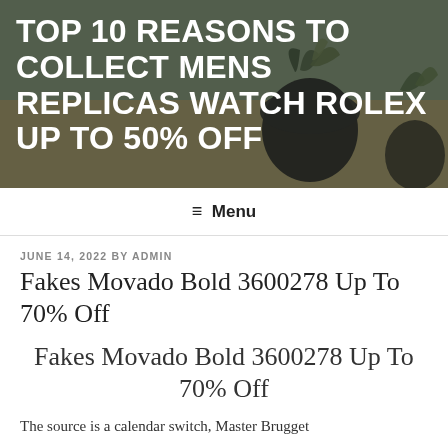[Figure (photo): Hero banner background photo showing a wooden table with a dark round ceramic pot containing a succulent plant, and another plant in the background. Dark overlay applied. Text overlay reads: TOP 10 REASONS TO COLLECT MENS REPLICAS WATCH ROLEX UP TO 50% OFF]
TOP 10 REASONS TO COLLECT MENS REPLICAS WATCH ROLEX UP TO 50% OFF
≡ Menu
JUNE 14, 2022 BY ADMIN
Fakes Movado Bold 3600278 Up To 70% Off
Fakes Movado Bold 3600278 Up To 70% Off
The source is a calendar switch, Master Brugget